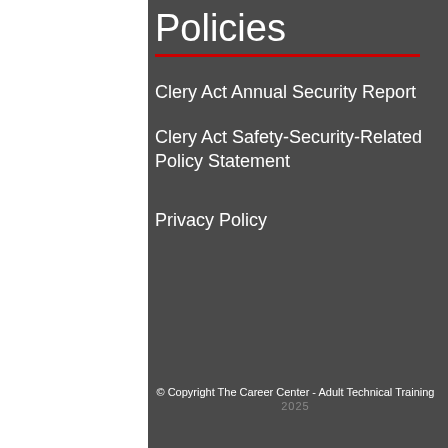Policies
Clery Act Annual Security Report
Clery Act Safety-Security-Related Policy Statement
Privacy Policy
© Copyright The Career Center - Adult Technical Training 2025